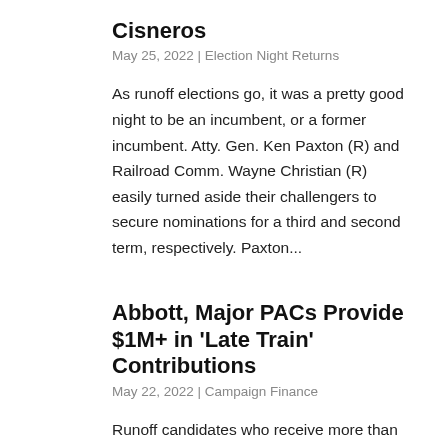Cisneros
May 25, 2022 | Election Night Returns
As runoff elections go, it was a pretty good night to be an incumbent, or a former incumbent. Atty. Gen. Ken Paxton (R) and Railroad Comm. Wayne Christian (R) easily turned aside their challengers to secure nominations for a third and second term, respectively. Paxton...
Abbott, Major PACs Provide $1M+ in ‘Late Train’ Contributions
May 22, 2022 | Campaign Finance
Runoff candidates who receive more than $1,890 from a single source on or after May 15 must disclose those contributions in daily pre-election reports (formerly known as telegram reports). These “late train”